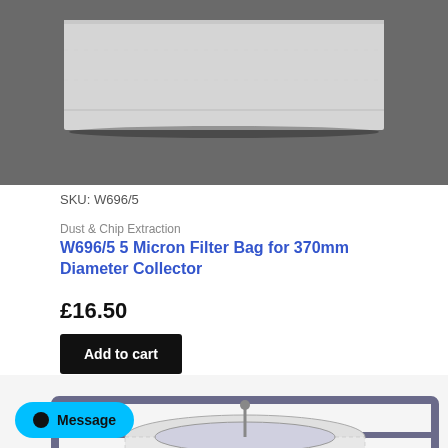[Figure (photo): Photo of a grey/white rectangular filter bag lying flat on a dark grey surface]
SKU: W696/5
Dust & Chip Extraction
W696/5 5 Micron Filter Bag for 370mm Diameter Collector
£16.50
Add to cart
[Figure (photo): Photo of a cylindrical dust collector with a frame, showing the filter element inside]
Message